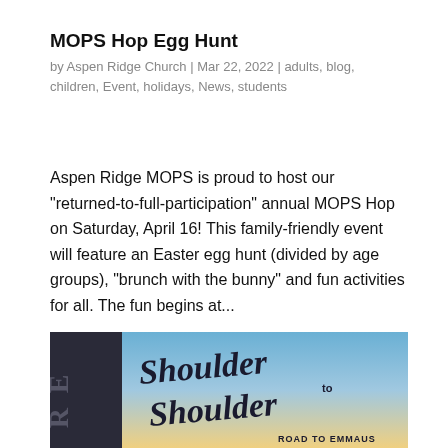MOPS Hop Egg Hunt
by Aspen Ridge Church | Mar 22, 2022 | adults, blog, children, Event, holidays, News, students
Aspen Ridge MOPS is proud to host our “returned-to-full-participation” annual MOPS Hop on Saturday, April 16! This family-friendly event will feature an Easter egg hunt (divided by age groups), “brunch with the bunny” and fun activities for all. The fun begins at...
[Figure (illustration): Shoulder to Shoulder Road to Emmaus event graphic with blue gradient sky background and stylized script lettering]